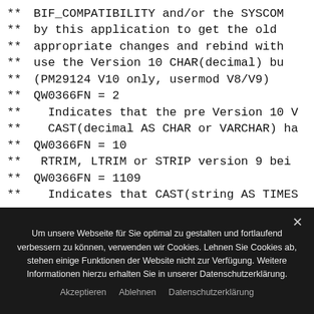** BIF_COMPATIBILITY and/or the SYSCOM
** by this application to get the old
** appropriate changes and rebind with
** use the Version 10 CHAR(decimal) bu
** (PM29124 V10 only, usermod V8/V9)
** QW0366FN = 2
** Indicates that the pre Version 10 V
** CAST(decimal AS CHAR or VARCHAR) ha
** QW0366FN = 10
** RTRIM, LTRIM or STRIP version 9 bei
** QW0366FN = 1109
** Indicates that CAST(string AS TIMES
Um unsere Webseite für Sie optimal zu gestalten und fortlaufend verbessern zu können, verwenden wir Cookies. Lehnen Sie Cookies ab, stehen einige Funktionen der Website nicht zur Verfügung. Weitere Informationen hierzu erhalten Sie in unserer Datenschutzerklärung.
Akzeptieren   Ablehnen   Datenschutzerklärung